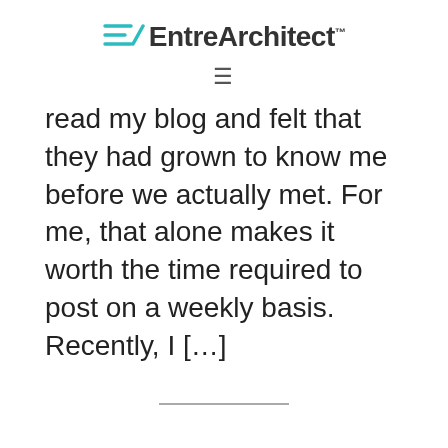EntreArchitect™
read my blog and felt that they had grown to know me before we actually met. For me, that alone makes it worth the time required to post on a weekly basis. Recently, I […]
Written by Mark R. LePage · Categorized: Architects, Social Media